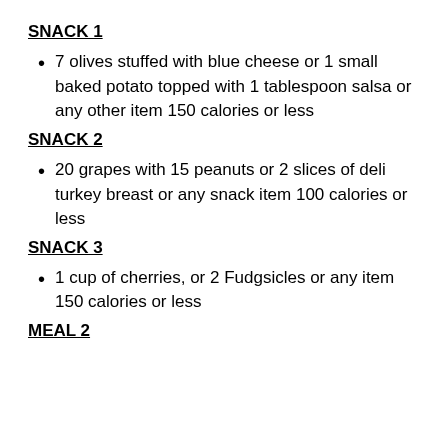SNACK 1
7 olives stuffed with blue cheese or 1 small baked potato topped with 1 tablespoon salsa or any other item 150 calories or less
SNACK 2
20 grapes with 15 peanuts or 2 slices of deli turkey breast or any snack item 100 calories or less
SNACK 3
1 cup of cherries, or 2 Fudgsicles or any item 150 calories or less
MEAL 2